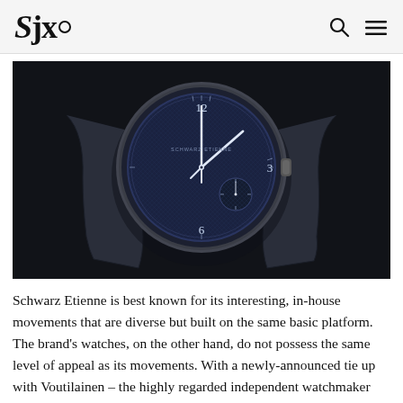SJx. [logo with search and menu icons]
[Figure (photo): Close-up photo of a Schwarz Etienne watch with a dark blue dial featuring guilloché pattern, Arabic numerals (12, 3, 6), a small seconds subdial, white gold hands, and a dark navy leather strap. Shot on a dark background.]
Schwarz Etienne is best known for its interesting, in-house movements that are diverse but built on the same basic platform. The brand's watches, on the other hand, do not possess the same level of appeal as its movements. With a newly-announced tie up with Voutilainen – the highly regarded independent watchmaker